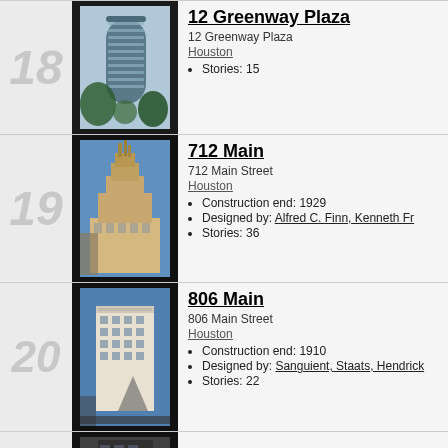18
[Figure (photo): Photo of 12 Greenway Plaza, a cylindrical glass skyscraper in Houston]
12 Greenway Plaza
12 Greenway Plaza
Houston
Stories: 15
19
[Figure (photo): Photo of 712 Main, an art deco skyscraper in Houston against blue sky]
712 Main
712 Main Street
Houston
Construction end: 1929
Designed by: Alfred C. Finn, Kenneth Fr
Stories: 36
20
[Figure (photo): Photo of 806 Main Street building in Houston against blue sky]
806 Main
806 Main Street
Houston
Construction end: 1910
Designed by: Sanguient, Staats, Hendrick
Stories: 22
21
[Figure (photo): Partial photo of 919 Milam building]
919 Milam